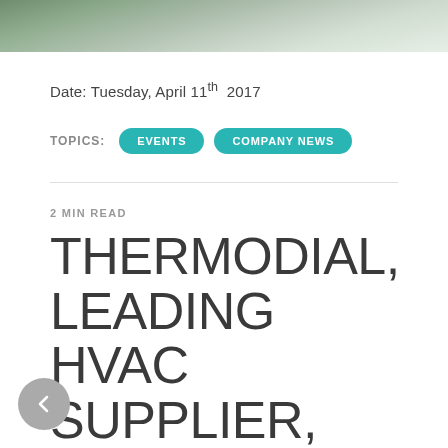[Figure (photo): Partial view of a landscape photo showing greenery and sky, cropped at top of page]
Date: Tuesday, April 11th  2017
TOPICS:  EVENTS  COMPANY NEWS
2 MIN READ
THERMODIAL, LEADING HVAC SUPPLIER, USES